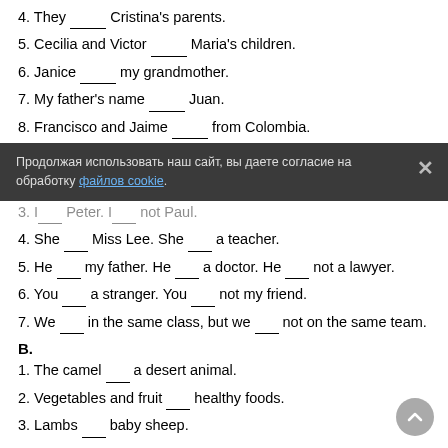4. They _____ Cristina's parents.
5. Cecilia and Victor _____ Maria's children.
6. Janice _____ my grandmother.
7. My father's name _____ Juan.
8. Francisco and Jaime _____ from Colombia.
Cookie banner: Продолжая использовать наш сайт, вы даете согласие на обработку файлов cookie.
3. I ___ Peter. I ___ not Paul.
4. She ___ Miss Lee. She ___ a teacher.
5. He ___ my father. He ___ a doctor. He ___ not a lawyer.
6. You ___ a stranger. You ___ not my friend.
7. We ___ in the same class, but we ___ not on the same team.
B.
1. The camel ___ a desert animal.
2. Vegetables and fruit ___ healthy foods.
3. Lambs ___ baby sheep.